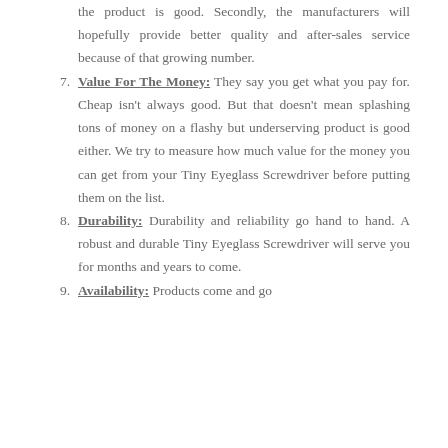the product is good. Secondly, the manufacturers will hopefully provide better quality and after-sales service because of that growing number.
7. Value For The Money: They say you get what you pay for. Cheap isn't always good. But that doesn't mean splashing tons of money on a flashy but underserving product is good either. We try to measure how much value for the money you can get from your Tiny Eyeglass Screwdriver before putting them on the list.
8. Durability: Durability and reliability go hand to hand. A robust and durable Tiny Eyeglass Screwdriver will serve you for months and years to come.
9. Availability: Products come and go